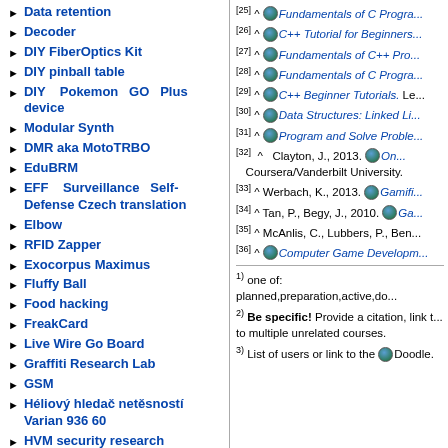Data retention
Decoder
DIY FiberOptics Kit
DIY pinball table
DIY Pokemon GO Plus device
Modular Synth
DMR aka MotoTRBO
EduBRM
EFF Surveillance Self-Defense Czech translation
Elbow
RFID Zapper
Exocorpus Maximus
Fluffy Ball
Food hacking
FreakCard
Live Wire Go Board
Graffiti Research Lab
GSM
Héliový hledač netěsností Varian 936 60
HVM security research
k3wm
[25] ^ Fundamentals of C Progra...
[26] ^ C++ Tutorial for Beginners...
[27] ^ Fundamentals of C++ Pro...
[28] ^ Fundamentals of C Progra...
[29] ^ C++ Beginner Tutorials. Le...
[30] ^ Data Structures: Linked Li...
[31] ^ Program and Solve Proble...
[32] ^ Clayton, J., 2013. On... Coursera/Vanderbilt University.
[33] ^ Werbach, K., 2013. Gamifi...
[34] ^ Tan, P., Begy, J., 2010. Ga...
[35] ^ McAnlis, C., Lubbers, P., Ben...
[36] ^ Computer Game Developm...
1) one of: planned,preparation,active,do...
2) Be specific! Provide a citation, link t... to multiple unrelated courses.
3) List of users or link to the Doodle.